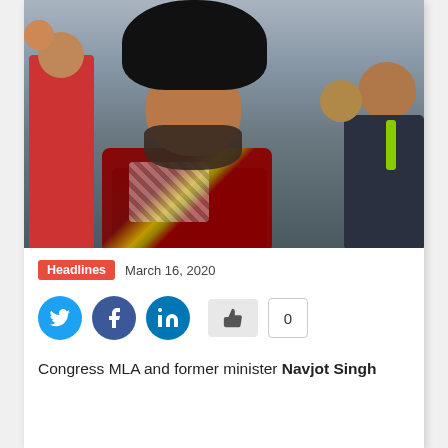[Figure (photo): Photo of a man wearing a black turban and dark red shawl/dupatta, smiling, surrounded by other people in a crowd setting. Likely Navjot Singh Sidhu.]
Headlines   March 16, 2020
[Figure (infographic): Social sharing buttons: Twitter (blue bird icon), Facebook (blue f icon), LinkedIn (blue in icon), a like/thumbs-up button, and a count showing 0]
Congress MLA and former minister Navjot Singh